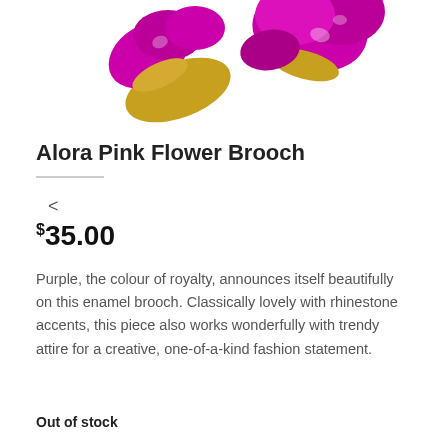[Figure (photo): A magenta/purple enamel flower brooch with gold accents and rhinestone details, partially cropped at the top of the page.]
Alora Pink Flower Brooch
$35.00
Purple, the colour of royalty, announces itself beautifully on this enamel brooch. Classically lovely with rhinestone accents, this piece also works wonderfully with trendy attire for a creative, one-of-a-kind fashion statement.
Out of stock